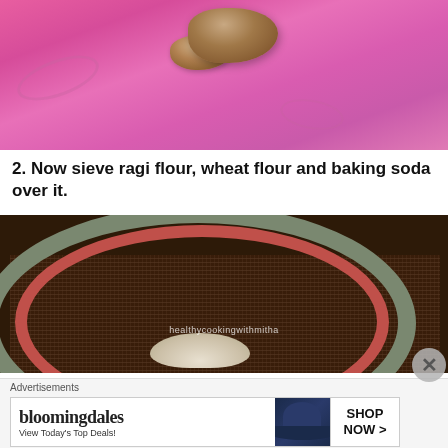[Figure (photo): Close-up photo of a pink mixing bowl with dough or batter mixture inside, showing swirled residue on the bowl walls]
2. Now sieve ragi flour, wheat flour and baking soda over it.
[Figure (photo): Photo of a metal sieve/strainer held over a red/pink bowl, with flour being sifted through it. Watermark text reads: healthycookingwithmitha]
Advertisements
[Figure (other): Bloomingdale's advertisement banner. Text: bloomingdales, View Today's Top Deals!, SHOP NOW >]